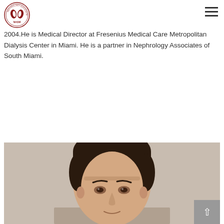NASM - Nephrology Associates of South Miami
2004.He is Medical Director at Fresenius Medical Care Metropolitan Dialysis Center in Miami. He is a partner in Nephrology Associates of South Miami.
FULL PROFILE
[Figure (photo): Headshot photo of a male doctor with dark hair against a light beige/grey background, cropped at the upper torso level.]